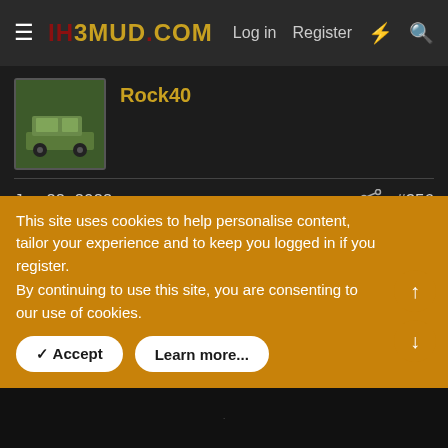IH3MUD.COM  Log in  Register
Rock40
Jan 22, 2022  #356
Welded and sanded on the bed just about all day, also finished out the driver side rear limit strap
Lower limit strap tab, added 1/2-13 weld nuts to each, makes assembly/disassembly much easier when you
This site uses cookies to help personalise content, tailor your experience and to keep you logged in if you register.
By continuing to use this site, you are consenting to our use of cookies.
✓ Accept  Learn more...